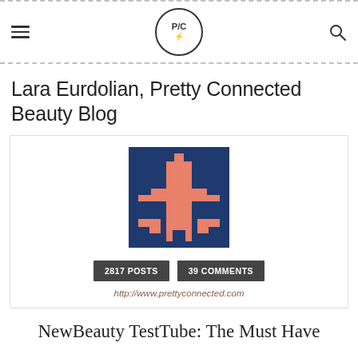P/C logo with hamburger menu and search icon
Lara Eurdolian, Pretty Connected Beauty Blog
[Figure (logo): Pretty Connected stylized logo in dark navy blue and salmon/coral pink, pixel-art style cross/figure shape]
2817 POSTS   39 COMMENTS
http://www.prettyconnected.com
NewBeauty TestTube: The Must Have